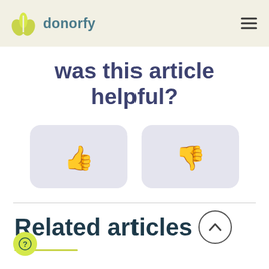donorfy
was this article helpful?
[Figure (illustration): Two rounded rectangle buttons side by side: left button has a thumbs-up icon, right button has a thumbs-down icon, both in muted blue-grey color on light grey background.]
Related articles